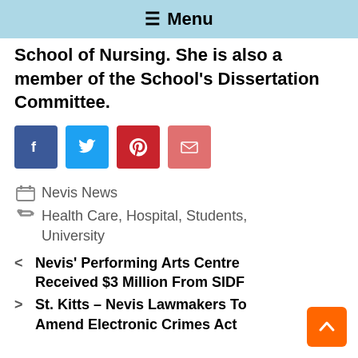≡ Menu
School of Nursing. She is also a member of the School's Dissertation Committee.
[Figure (other): Social share buttons: Facebook (dark blue), Twitter (light blue), Pinterest (red), Email (salmon/red)]
Nevis News
Health Care, Hospital, Students, University
< Nevis' Performing Arts Centre Received $3 Million From SIDF
> St. Kitts – Nevis Lawmakers To Amend Electronic Crimes Act